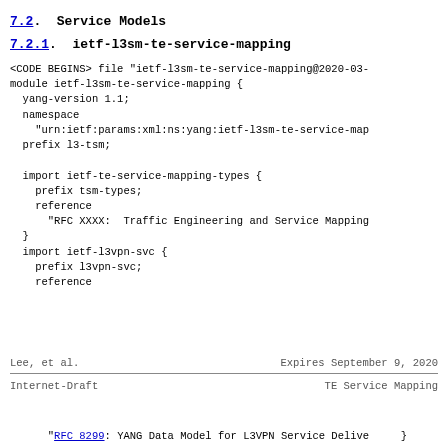7.2.  Service Models
7.2.1.  ietf-l3sm-te-service-mapping
<CODE BEGINS> file "ietf-l3sm-te-service-mapping@2020-03-
module ietf-l3sm-te-service-mapping {
  yang-version 1.1;
  namespace
    "urn:ietf:params:xml:ns:yang:ietf-l3sm-te-service-map
  prefix l3-tsm;

  import ietf-te-service-mapping-types {
    prefix tsm-types;
    reference
      "RFC XXXX:  Traffic Engineering and Service Mapping
  }
  import ietf-l3vpn-svc {
    prefix l3vpn-svc;
    reference
Lee, et al.                 Expires September 9, 2020
Internet-Draft              TE Service Mapping
"RFC 8299: YANG Data Model for L3VPN Service Delive
    }